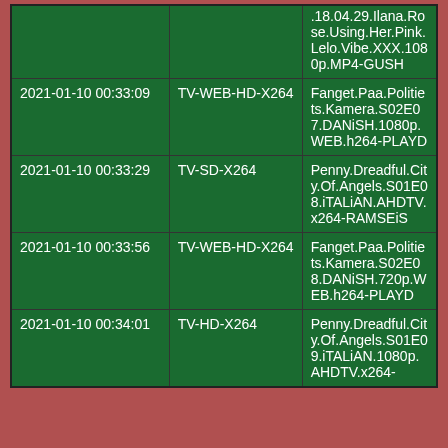|  |  | .18.04.29.Ilana.Rose.Using.Her.Pink.Lelo.Vibe.XXX.1080p.MP4-GUSH |
| 2021-01-10 00:33:09 | TV-WEB-HD-X264 | Fanget.Paa.Politiets.Kamera.S02E07.DANiSH.1080p.WEB.h264-PLAYD |
| 2021-01-10 00:33:29 | TV-SD-X264 | Penny.Dreadful.City.Of.Angels.S01E08.iTALiAN.AHDTV.x264-RAMSEiS |
| 2021-01-10 00:33:56 | TV-WEB-HD-X264 | Fanget.Paa.Politiets.Kamera.S02E08.DANiSH.720p.WEB.h264-PLAYD |
| 2021-01-10 00:34:01 | TV-HD-X264 | Penny.Dreadful.City.Of.Angels.S01E09.iTALiAN.1080p.AHDTV.x264-RAMSEiS |